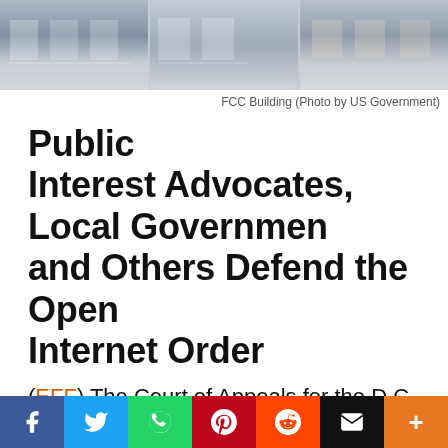[Figure (photo): FCC Building exterior showing windows, three panels side by side]
FCC Building (Photo by US Government)
Public Interest Advocates, Local Governments and Others Defend the Open Internet Order
(EFF) The Court of Appeals for the D.C. Circuit heard the case of Mozilla v. FCC today to determine whether the Federal Communications Commission (FCC) is allowed to repeal its net neutrality rules and abandon its authority over the broadband industry. The case delved into many different legal and